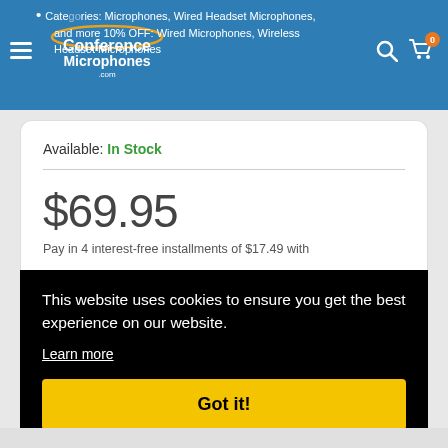Conference Microphones .com — navigation header with logo, hamburger menu, search icon, and cart
Categories: Microphones, Wired Headset Microphones, and more 10% OFF: Wired Microphones, Wireless Headset Microphones
Available: In Stock
$69.95
Pay in 4 interest-free installments of $17.49 with
This website uses cookies to ensure you get the best experience on our website.
Learn more
Got it!